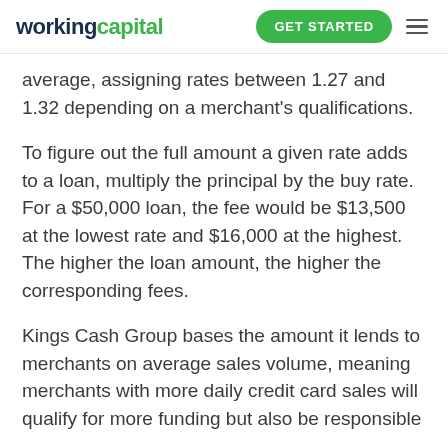workingcapital | GET STARTED
average, assigning rates between 1.27 and 1.32 depending on a merchant's qualifications.
To figure out the full amount a given rate adds to a loan, multiply the principal by the buy rate. For a $50,000 loan, the fee would be $13,500 at the lowest rate and $16,000 at the highest. The higher the loan amount, the higher the corresponding fees.
Kings Cash Group bases the amount it lends to merchants on average sales volume, meaning merchants with more daily credit card sales will qualify for more funding but also be responsible